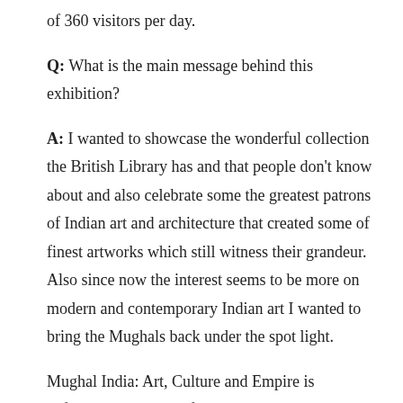of 360 visitors per day.
Q: What is the main message behind this exhibition?
A: I wanted to showcase the wonderful collection the British Library has and that people don't know about and also celebrate some the greatest patrons of Indian art and architecture that created some of finest artworks which still witness their grandeur. Also since now the interest seems to be more on modern and contemporary Indian art I wanted to bring the Mughals back under the spot light.
Mughal India: Art, Culture and Empire is definitely a must see if you are in London. The exhibition will make you experience traditional Mughal life during your visit and educate you through superb works of art.